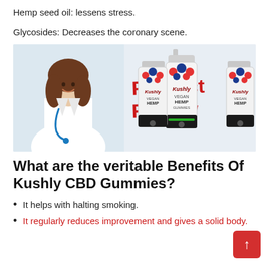Hemp seed oil: lessens stress.
Glycosides: Decreases the coronary scene.
[Figure (photo): Product review banner image featuring a female doctor in white coat with stethoscope on the left, bold red text 'Product Review' in center, and three Kushly Vegan Hemp Gummies bottles on the right.]
What are the veritable Benefits Of Kushly CBD Gummies?
It helps with halting smoking.
It regularly reduces improvement and gives a solid body.